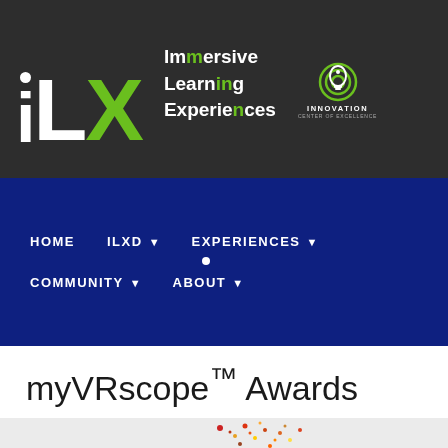[Figure (logo): iLX - Immersive Learning Experiences logo with Innovation Center of Excellence badge on dark grey background]
HOME   ILXD ▾   EXPERIENCES ▾   COMMUNITY ▾   ABOUT ▾
myVRscope™ Awards
[Figure (photo): Partial image of colorful particle/dot art, circular shape on grey/white background]